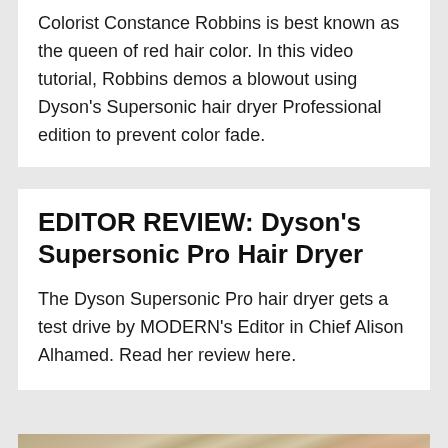Colorist Constance Robbins is best known as the queen of red hair color. In this video tutorial, Robbins demos a blowout using Dyson's Supersonic hair dryer Professional edition to prevent color fade.
EDITOR REVIEW: Dyson's Supersonic Pro Hair Dryer
The Dyson Supersonic Pro hair dryer gets a test drive by MODERN's Editor in Chief Alison Alhamed. Read her review here.
[Figure (photo): Close-up photo of a person's hair showing highlighted streaks, viewed from the side/back]